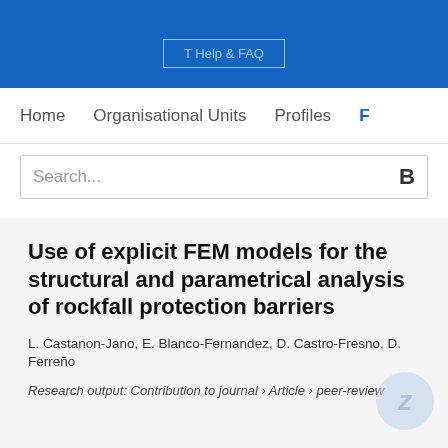T Help & FAQ
Home   Organisational Units   Profiles   F
Search...
Use of explicit FEM models for the structural and parametrical analysis of rockfall protection barriers
L. Castanon-Jano, E. Blanco-Fernandez, D. Castro-Fresno, D. Ferreño
Research output: Contribution to journal › Article › peer-review